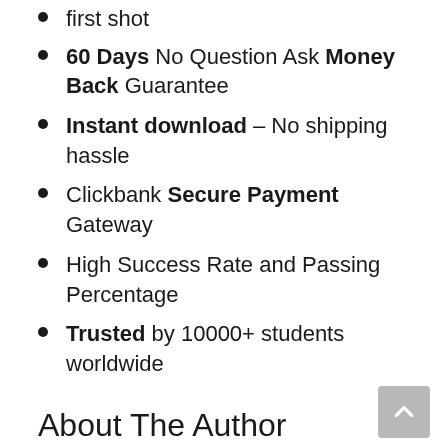first shot
60 Days No Question Ask Money Back Guarantee
Instant download – No shipping hassle
Clickbank Secure Payment Gateway
High Success Rate and Passing Percentage
Trusted by 10000+ students worldwide
About The Author